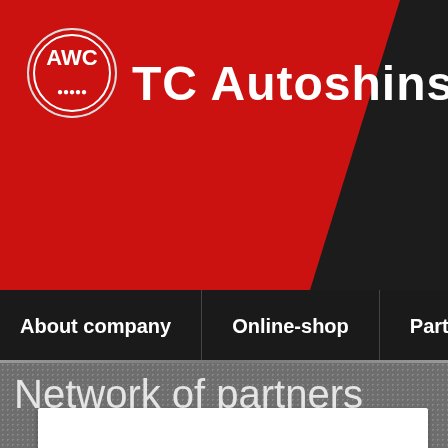[Figure (logo): TC Autoshinsnab Corporation logo with AWC circular emblem on red and dark header background]
TC Autoshinsnab Corporation
About company | Online-shop | Partners
Network of partners